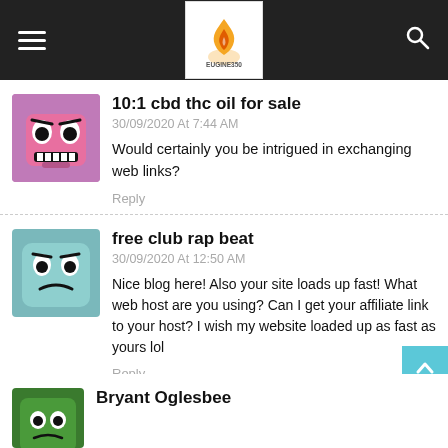EUGINE350 site header with logo, hamburger menu, and search icon
10:1 cbd thc oil for sale
30/09/2020 At 7:44 AM
Would certainly you be intrigued in exchanging web links?
Reply
free club rap beat
30/09/2020 At 12:50 AM
Nice blog here! Also your site loads up fast! What web host are you using? Can I get your affiliate link to your host? I wish my website loaded up as fast as yours lol
Reply
Bryant Oglesbee